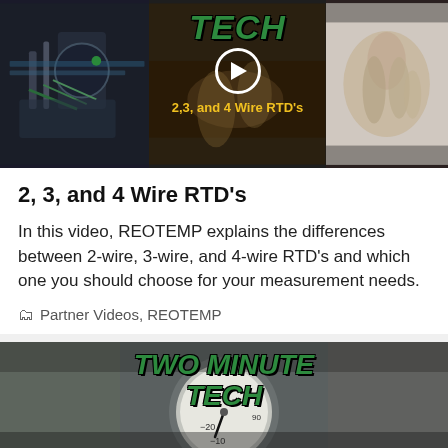[Figure (screenshot): Three-panel video thumbnail showing electrical wiring images with 'TECH' title overlay in green italic text, a play button circle, and '2,3, and 4 Wire RTD's' subtitle in yellow]
2, 3, and 4 Wire RTD's
In this video, REOTEMP explains the differences between 2-wire, 3-wire, and 4-wire RTD's and which one you should choose for your measurement needs.
Partner Videos, REOTEMP
[Figure (screenshot): Video thumbnail showing a pressure gauge with 'TWO MINUTE TECH' text in large green italic bold font overlay]